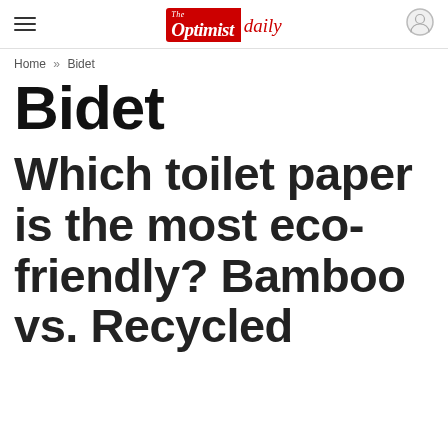The Optimist Daily
Home » Bidet
Bidet
Which toilet paper is the most eco-friendly? Bamboo vs. Recycled